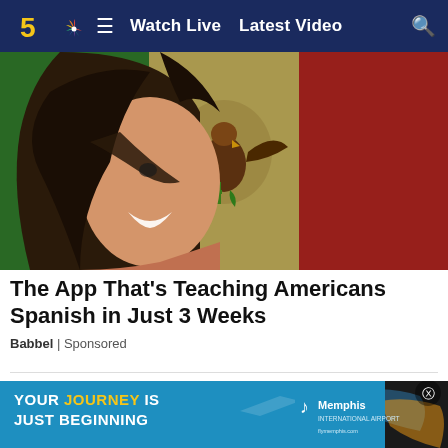Watch Live  Latest Video
[Figure (photo): Smiling woman with hair across her face overlaid on Mexican flag background (green, eagle emblem, red stripes)]
The App That’s Teaching Americans Spanish in Just 3 Weeks
Babbel | Sponsored
[Figure (photo): Dark photo partially visible, with an advertisement banner overlay reading YOUR JOURNEY IS JUST BEGINNING with Memphis International Airport logo]
YOUR JOURNEY IS JUST BEGINNING | Memphis International Airport